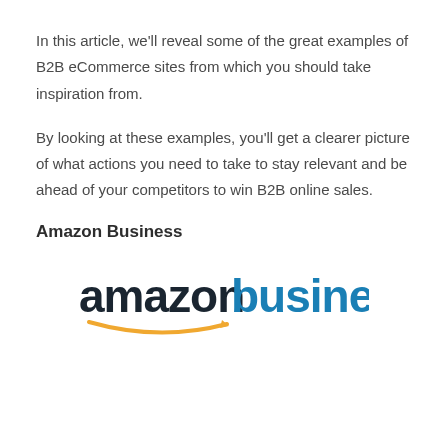In this article, we'll reveal some of the great examples of B2B eCommerce sites from which you should take inspiration from.
By looking at these examples, you'll get a clearer picture of what actions you need to take to stay relevant and be ahead of your competitors to win B2B online sales.
Amazon Business
[Figure (logo): Amazon Business logo with 'amazon' in dark navy bold text and 'business' in teal/blue bold text, with the Amazon smile arrow beneath the amazon wordmark]